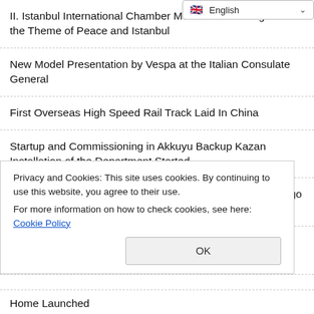[Figure (screenshot): Language selector dropdown showing English with flag icon and dropdown arrow]
II. Istanbul International Chamber Music Festival Begins with the Theme of Peace and Istanbul
New Model Presentation by Vespa at the Italian Consulate General
First Overseas High Speed Rail Track Laid In China
Startup and Commissioning in Akkuyu Backup Kazan Installation of the Department Started
Turkish Cargo Becomes Europe's Most Successful Air Cargo Carrier
4 Thousand Motorcycle Drivers Used the Eurasia Tunnel in 103 Month
Privacy and Cookies: This site uses cookies. By continuing to use this website, you agree to their use. For more information on how to check cookies, see here: Cookie Policy
Home Launched